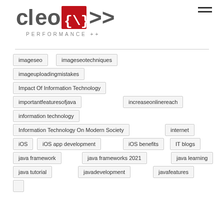cleoix PERFORMANCE ++
imageseo
imageseotechniques
imageuploadingmistakes
Impact Of Information Technology
importantfeaturesofjava
increaseonlinereach
information technology
Information Technology On Modern Society
internet
iOS
iOS app development
iOS benefits
IT blogs
java framework
java frameworks 2021
java learning
java tutorial
javadevelopment
javafeatures